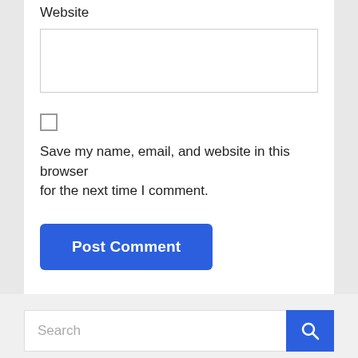Website
[Figure (other): Empty text input box for Website field]
[Figure (other): Unchecked checkbox]
Save my name, email, and website in this browser for the next time I comment.
[Figure (other): Post Comment button, blue rounded rectangle]
[Figure (other): Search bar with blue search button]
TAGS
[Figure (other): Blue scroll-to-top button with up arrow]